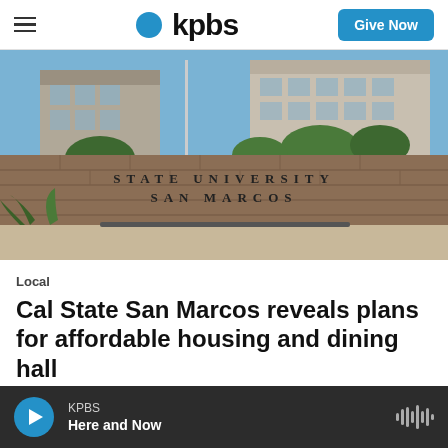KPBS — Give Now
[Figure (photo): Exterior photo of California State University San Marcos entrance sign mounted on a stone wall, with university buildings and blue sky in the background.]
Local
Cal State San Marcos reveals plans for affordable housing and dining hall
4 hours ago
KPBS Here and Now — player bar